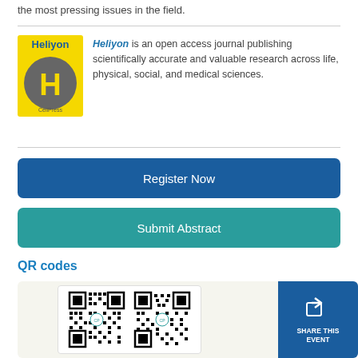the most pressing issues in the field.
[Figure (logo): Heliyon journal cover — yellow background with large grey circle containing yellow H letter and 'Heliyon' text at top, 'CellPress' at bottom]
Heliyon is an open access journal publishing scientifically accurate and valuable research across life, physical, social, and medical sciences.
Register Now
Submit Abstract
QR codes
[Figure (other): Two QR codes side by side in a white card on a light beige background, each with a CellPress logo in the center]